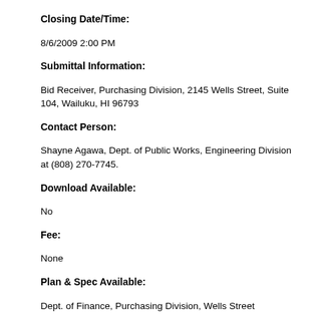Closing Date/Time:
8/6/2009 2:00 PM
Submittal Information:
Bid Receiver, Purchasing Division, 2145 Wells Street, Suite 104, Wailuku, HI 96793
Contact Person:
Shayne Agawa, Dept. of Public Works, Engineering Division at (808) 270-7745.
Download Available:
No
Fee:
None
Plan & Spec Available:
Dept. of Finance, Purchasing Division, Wells Street Professional Center, 2145 Wells Street, Suite 104, Wailuku, HI 96793